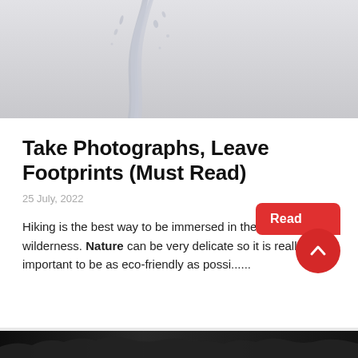[Figure (photo): Top portion of a water splash or icy wave against a light gray background]
Take Photographs, Leave Footprints (Must Read)
25 July, 2022
Hiking is the best way to be immersed in the stunning wilderness. Nature can be very delicate so it is really important to be as eco-friendly as possi......
[Figure (photo): Bottom strip showing a dark outdoor/nature scene]